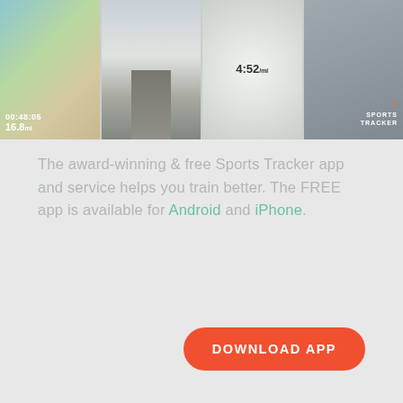[Figure (screenshot): A strip of four sports tracker app screenshots: a map with stats showing 00:48:05 and 16.8, a road scene, a circular tracker display showing 4:52, and a Sports Tracker logo on a grey background.]
The award-winning & free Sports Tracker app and service helps you train better. The FREE app is available for Android and iPhone.
DOWNLOAD APP